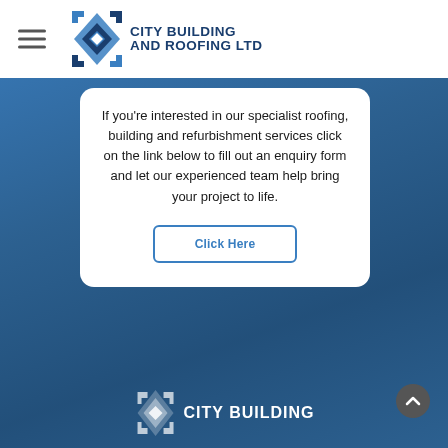City Building and Roofing Ltd
If you're interested in our specialist roofing, building and refurbishment services click on the link below to fill out an enquiry form and let our experienced team help bring your project to life.
Click Here
[Figure (logo): City Building and Roofing Ltd logo at bottom of page in white]